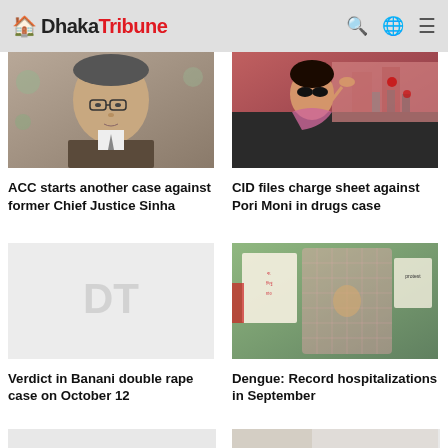Dhaka Tribune
[Figure (photo): Portrait photo of an elderly man with glasses, former Chief Justice Sinha]
ACC starts another case against former Chief Justice Sinha
[Figure (photo): Photo of a woman in sunglasses waving to crowd, Pori Moni]
CID files charge sheet against Pori Moni in drugs case
[Figure (photo): Dhaka Tribune placeholder image with DT watermark]
Verdict in Banani double rape case on October 12
[Figure (photo): Photo of protest with mosquito net and banners about dengue]
Dengue: Record hospitalizations in September